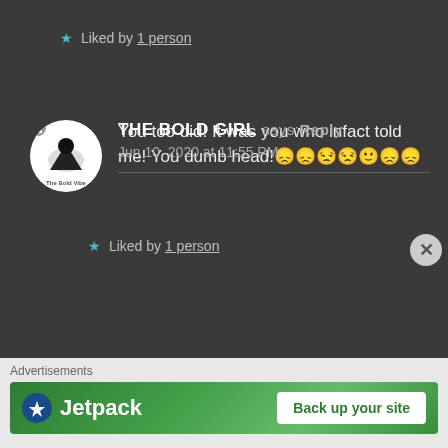★ Liked by 1 person
THE BOLD GIRL says: Reply
Jun 10, 2020 at 11:55 PM
You too did! It was you who infact told me! You dumb head!😞😞😒😒🙂😞😞
★ Liked by 1 person
[Figure (screenshot): Jetpack advertisement banner with 'Back up your site' button]
Advertisements